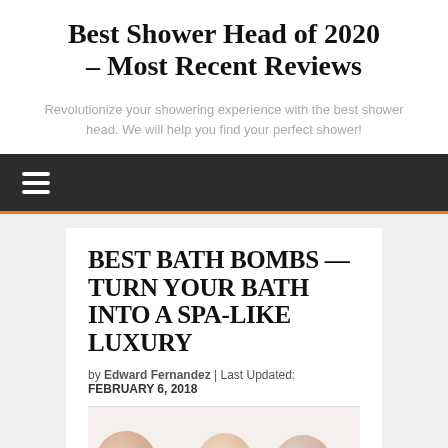Best Shower Head of 2020 – Most Recent Reviews
Revolutionize your showering experience with the best shower head. We will help you find your perfect shower!
[Figure (other): Dark navigation bar with white hamburger menu icon (three horizontal lines)]
BEST BATH BOMBS — TURN YOUR BATH INTO A SPA-LIKE LUXURY
by Edward Fernandez | Last Updated: FEBRUARY 6, 2018
[Figure (photo): Partial view of bath bombs on a white surface, showing tops of round bath bomb products]